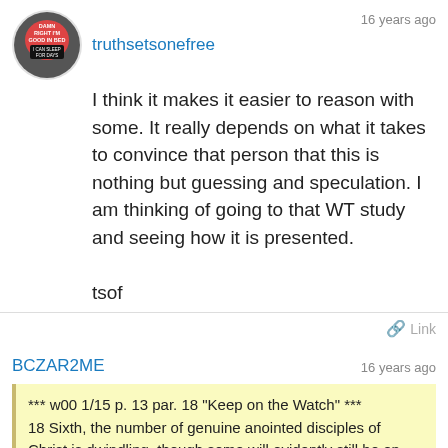truthsetsonefree
16 years ago
I think it makes it easier to reason with some. It really depends on what it takes to convince that person that this is nothing but guessing and speculation. I am thinking of going to that WT study and seeing how it is presented.

tsof
Link
BCZAR2ME
16 years ago
*** w00 1/15 p. 13 par. 18 "Keep on the Watch" ***
18 Sixth, the number of genuine anointed disciples of Christ is dwindling, though some will evidently still be on earth when the great tribulation begins. Most of the remnant are quite elderly and over the years the number of those who are truly anointed has been getting smaller. Yet, referring to the great tribulation, Jesus stated: "Unless those days were cut short, no